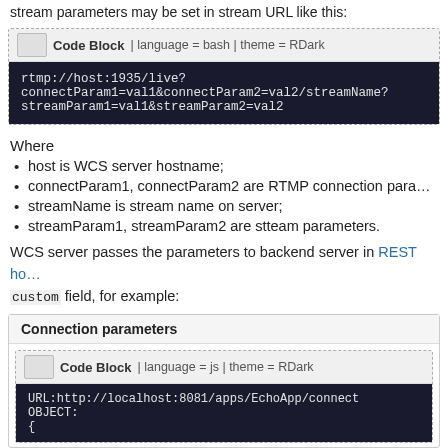stream parameters may be set in stream URL like this:
[Figure (screenshot): Code Block | language = bash | theme = RDark. Contains: rtmp://host:1935/live?connectParam1=val1&connectParam2=val2/streamName?streamParam1=val1&streamParam2=val2]
Where
host is WCS server hostname;
connectParam1, connectParam2 are RTMP connection parameters;
streamName is stream name on server;
streamParam1, streamParam2 are stteam parameters.
WCS server passes the parameters to backend server in REST hook, custom field, for example:
Connection parameters
[Figure (screenshot): Code Block | language = js | theme = RDark. Contains: URL:http://localhost:8081/apps/EchoApp/connect OBJECT: {]